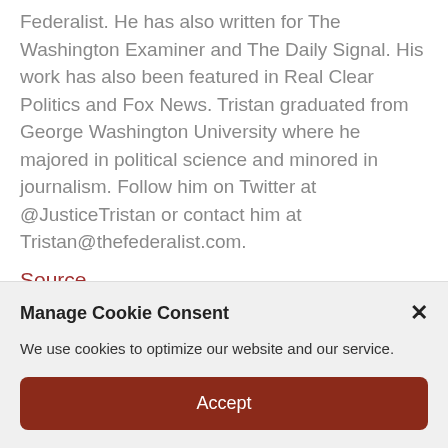Federalist. He has also written for The Washington Examiner and The Daily Signal. His work has also been featured in Real Clear Politics and Fox News. Tristan graduated from George Washington University where he majored in political science and minored in journalism. Follow him on Twitter at @JusticeTristan or contact him at Tristan@thefederalist.com.
Source
Please follow and like us:
[Figure (screenshot): Social media share buttons: Like (Facebook blue), Follow (green), Share (Facebook), Tweet (Twitter blue), Save (Pinterest red)]
Manage Cookie Consent
We use cookies to optimize our website and our service.
Accept